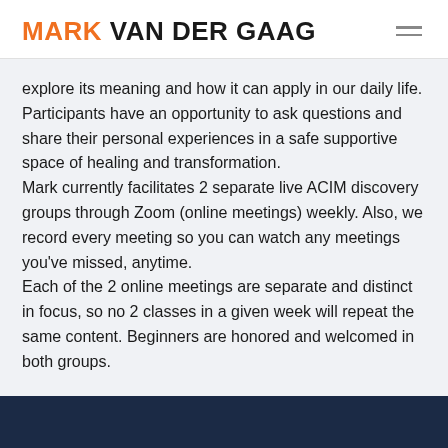MARK VAN DER GAAG
explore its meaning and how it can apply in our daily life. Participants have an opportunity to ask questions and share their personal experiences in a safe supportive space of healing and transformation.
Mark currently facilitates 2 separate live ACIM discovery groups through Zoom (online meetings) weekly. Also, we record every meeting so you can watch any meetings you've missed, anytime.
Each of the 2 online meetings are separate and distinct in focus, so no 2 classes in a given week will repeat the same content. Beginners are honored and welcomed in both groups.